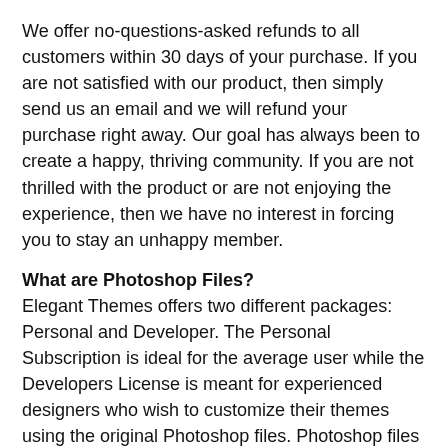We offer no-questions-asked refunds to all customers within 30 days of your purchase. If you are not satisfied with our product, then simply send us an email and we will refund your purchase right away. Our goal has always been to create a happy, thriving community. If you are not thrilled with the product or are not enjoying the experience, then we have no interest in forcing you to stay an unhappy member.
What are Photoshop Files?
Elegant Themes offers two different packages: Personal and Developer. The Personal Subscription is ideal for the average user while the Developers License is meant for experienced designers who wish to customize their themes using the original Photoshop files. Photoshop files are the original design files that were used to create the theme. They can be opened using Adobe Photoshop and edited, and prove very useful for customers wishing to change their theme's design in some way.